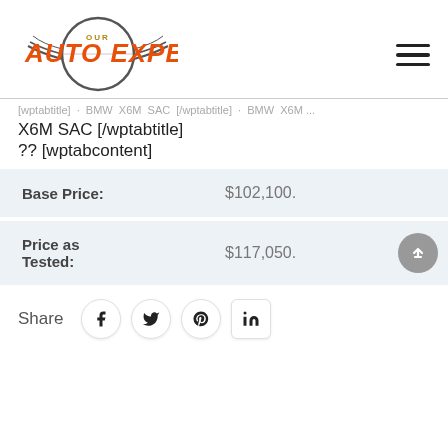[Figure (logo): Our Auto Expert logo with circular tire graphic and orange bold text]
[wptabtitle] ... BMW X6M SAC [/wptabtitle]
?? [wptabcontent]
| Label | Value |
| --- | --- |
| Base Price: | $102,100. |
| Price as Tested: | $117,050. |
Share